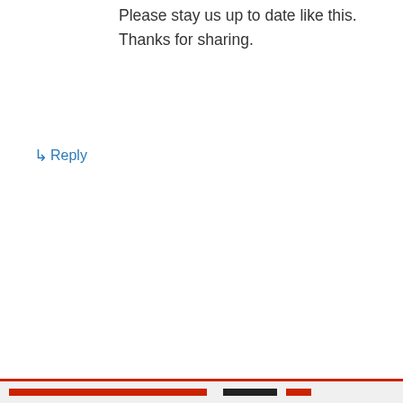Please stay us up to date like this. Thanks for sharing.
↳ Reply
madden nfl 25 hack tool ios on May 21, 2014 at 10:37 pm
Privacy & Cookies: This site uses cookies. By continuing to use this website, you agree to their use.
To find out more, including how to control cookies, see here: Cookie Policy
Close and accept